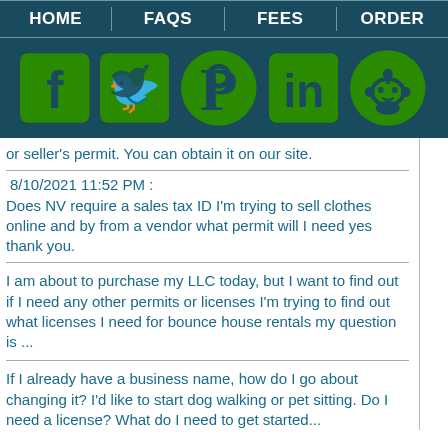HOME | FAQS | FEES | ORDER
[Figure (logo): Social media icons: Facebook, Twitter, Pinterest, LinkedIn, Reddit — green icons on dark teal background]
or seller's permit. You can obtain it on our site.
8/10/2021 11:52 PM :
Does NV require a sales tax ID I'm trying to sell clothes online and by from a vendor what permit will I need yes thank you.
I am about to purchase my LLC today, but I want to find out if I need any other permits or licenses I'm trying to find out what licenses I need for bounce house rentals my question is ...
If I already have a business name, how do I go about changing it? I'd like to start dog walking or pet sitting. Do I need a license? What do I need to get started...